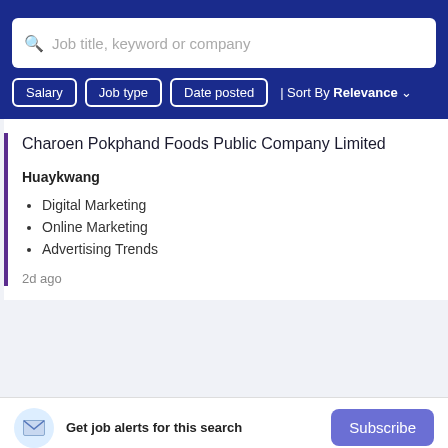[Figure (screenshot): Search bar with placeholder text 'Job title, keyword or company' and a search icon on the left]
[Figure (screenshot): Filter buttons: Salary, Job type, Date posted, and Sort By Relevance dropdown]
Charoen Pokphand Foods Public Company Limited
Huaykwang
Digital Marketing
Online Marketing
Advertising Trends
2d ago
Get job alerts for this search